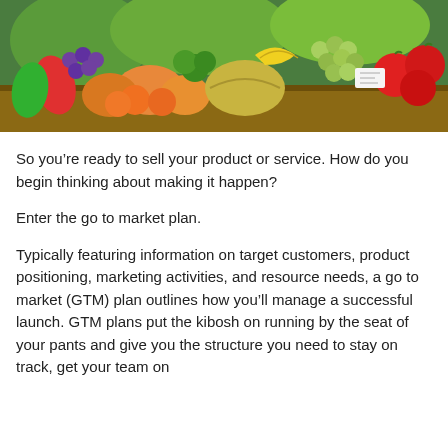[Figure (photo): Colorful fruit and vegetable market stall displaying tomatoes, grapes, melons, oranges, and various other produce]
So you’re ready to sell your product or service. How do you begin thinking about making it happen?
Enter the go to market plan.
Typically featuring information on target customers, product positioning, marketing activities, and resource needs, a go to market (GTM) plan outlines how you’ll manage a successful launch. GTM plans put the kibosh on running by the seat of your pants and give you the structure you need to stay on track, get your team on